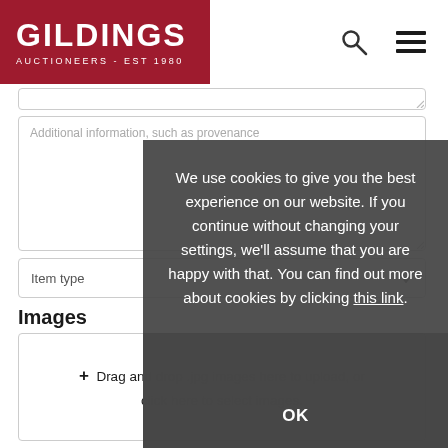[Figure (logo): Gildings Auctioneers - Est 1980 logo on dark red background]
[Figure (screenshot): Website form with textarea for additional information (placeholder text), Item type dropdown, Images section label, drag and drop upload box, and a cookie consent overlay modal on the right side reading: We use cookies to give you the best experience on our website. If you continue without changing your settings, we'll assume that you are happy with that. You can find out more about cookies by clicking this link. OK]